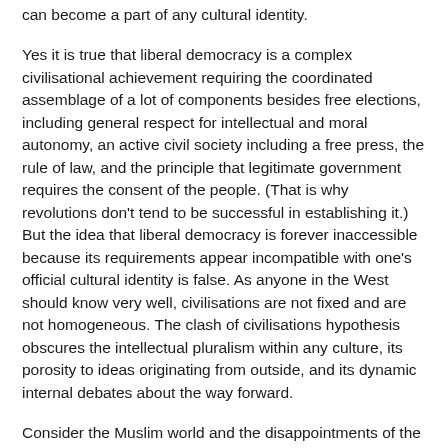can become a part of any cultural identity.
Yes it is true that liberal democracy is a complex civilisational achievement requiring the coordinated assemblage of a lot of components besides free elections, including general respect for intellectual and moral autonomy, an active civil society including a free press, the rule of law, and the principle that legitimate government requires the consent of the people. (That is why revolutions don't tend to be successful in establishing it.) But the idea that liberal democracy is forever inaccessible because its requirements appear incompatible with one's official cultural identity is false. As anyone in the West should know very well, civilisations are not fixed and are not homogeneous. The clash of civilisations hypothesis obscures the intellectual pluralism within any culture, its porosity to ideas originating from outside, and its dynamic internal debates about the way forward.
Consider the Muslim world and the disappointments of the Arab Spring and fundamentalist global terrorism which have led numerous commentators to declare that Islamic cultures, unlike Christian ones, are simply incompatible with liberal...